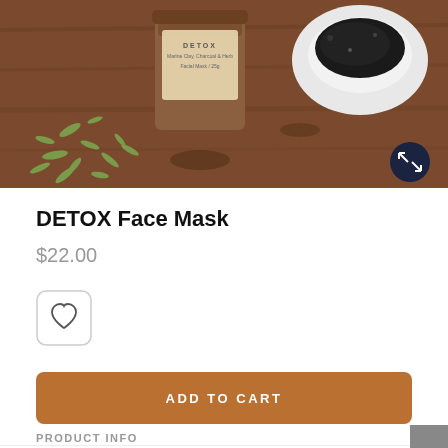[Figure (photo): Product photo of DETOX Face Mask - Marine Clay, Charcoal & Herb facial mask jar on a rustic wooden surface with dried green herbs scattered around it and a small white bowl containing black charcoal powder to the right. An expand/fullscreen button (dark circle with arrows icon) is visible in the bottom-right of the image.]
DETOX Face Mask
$22.00
[Figure (other): Wishlist/favorite button - rounded square button with a heart icon outline]
ADD TO CART
PRODUCT INFO